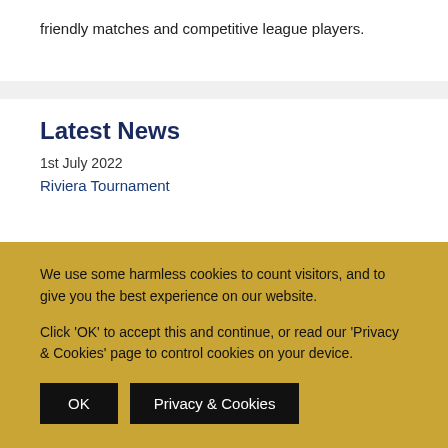friendly matches and competitive league players.
Latest News
1st July 2022
Riviera Tournament
We use some harmless cookies to count visitors, and to give you the best experience on our website.

Click 'OK' to accept this and continue, or read our 'Privacy & Cookies' page to control cookies on your device.
OK
Privacy & Cookies